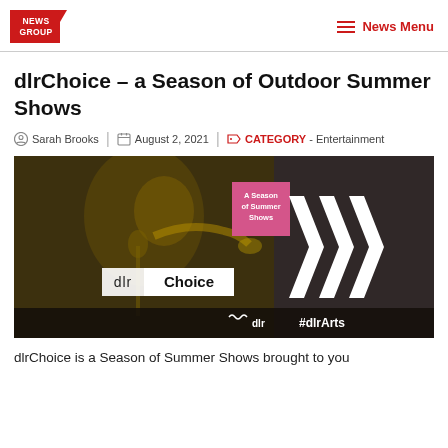NEWS GROUP | News Menu
dlrChoice – a Season of Outdoor Summer Shows
Sarah Brooks | August 2, 2021 | CATEGORY - Entertainment
[Figure (photo): dlrChoice – A Season of Summer Shows promotional banner featuring a jazz trumpet player in sepia/gold tones on the left, the dlrChoice logo in white on a dark background in the center, white chevron arrows on the right, and the text '#dlrArts' and 'dlr' logo at the bottom.]
dlrChoice is a Season of Summer Shows brought to you